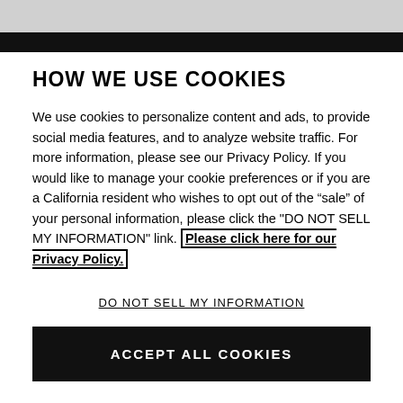HOW WE USE COOKIES
We use cookies to personalize content and ads, to provide social media features, and to analyze website traffic. For more information, please see our Privacy Policy. If you would like to manage your cookie preferences or if you are a California resident who wishes to opt out of the "sale" of your personal information, please click the "DO NOT SELL MY INFORMATION" link. Please click here for our Privacy Policy.
DO NOT SELL MY INFORMATION
ACCEPT ALL COOKIES